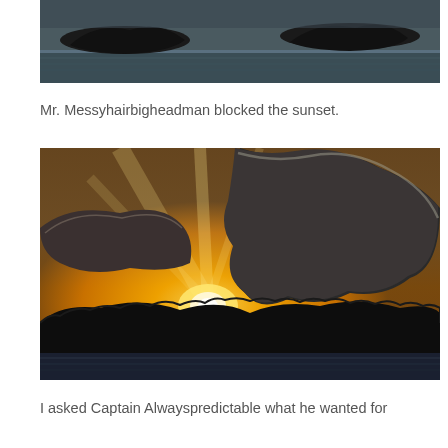[Figure (photo): Aerial or water-level view of dark rocky islands silhouetted against a calm grey sea and overcast sky]
Mr. Messyhairbigheadman blocked the sunset.
[Figure (photo): Dramatic sunset photo with golden-orange sky, sunbeams bursting from behind a large dark cloud mass, silhouetted hilly treeline and calm water in the foreground]
I asked Captain Alwayspredictable what he wanted for